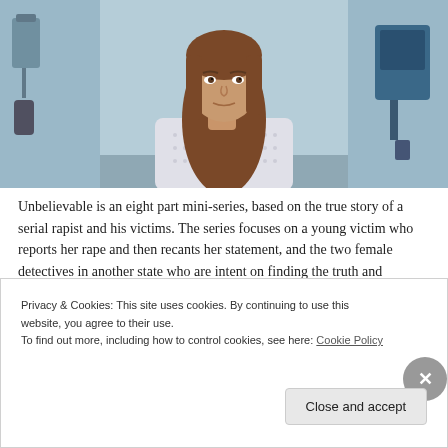[Figure (photo): A young woman with long brown hair sits in what appears to be a medical examination room, wearing a light-colored patterned sweater. She looks directly at the camera with a somber expression. Medical equipment is visible on the walls around her.]
Unbelievable is an eight part mini-series, based on the true story of a serial rapist and his victims. The series focuses on a young victim who reports her rape and then recants her statement, and the two female detectives in another state who are intent on finding the truth and catching the rapist.
Privacy & Cookies: This site uses cookies. By continuing to use this website, you agree to their use.
To find out more, including how to control cookies, see here: Cookie Policy
Close and accept